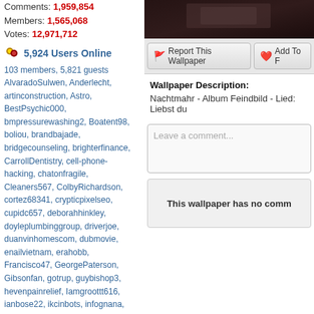Comments: 1,959,854
Members: 1,565,068
Votes: 12,971,712
5,924 Users Online
103 members, 5,821 guests
AlvaradoSulwen, Anderlecht, artinconstruction, Astro, BestPsychic000, bmpressurewashing2, Boatent98, boliou, brandbajade, bridgecounseling, brighterfinance, CarrollDentistry, cell-phone-hacking, chatonfragile, Cleaners567, ColbyRichardson, cortez68341, crypticpixelseo, cupidc657, deborahhinkley, doyleplumbinggroup, driverjoe, duanvinhomescom, dubmovie, enailvietnam, erahobb, Francisco47, GeorgePaterson, Gibsonfan, gotrup, guybishop3, hevenpainrelief, Iamgroottt616, ianbose22, ikcinbots, infognana, Installationvinyl11, jasonguck, JokersStash, josephfirarae, jun8888, KayaXu8, khungnhomkinhvietphon..., kinggohan, Lalina, Lamamake, leonbetappin, lertuiosq, lilla811, lirikmerch, maayash, macthanhvu, marquisbarkley, mayapatil281995, McKinneysTX, mikepaxson, missshweta, mistydaydream1, mod.CG, modzoro, mumtazdental, ngu888today, pheenie777
[Figure (photo): Dark wallpaper image thumbnail]
Report This Wallpaper
Add To F
Wallpaper Description:
Nachtmahr - Album Feindbild - Lied: Liebst du
Leave a comment...
This wallpaper has no comm